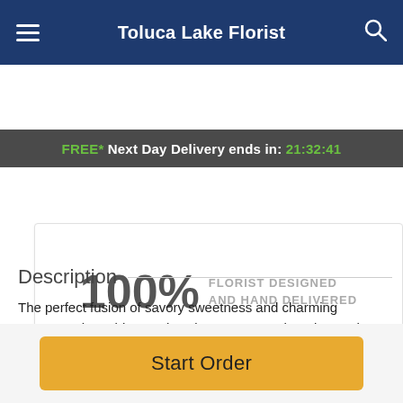Toluca Lake Florist
FREE* Next Day Delivery ends in: 21:32:41
100% FLORIST DESIGNED AND HAND DELIVERED
Description
The perfect fusion of savory sweetness and charming romance, these blooms don't just guarantee happiness; they make it last! Choose this stellar gift for that special gal or guy in your life—a customer favorite for Valentine's Day and anniversaries.
Start Order